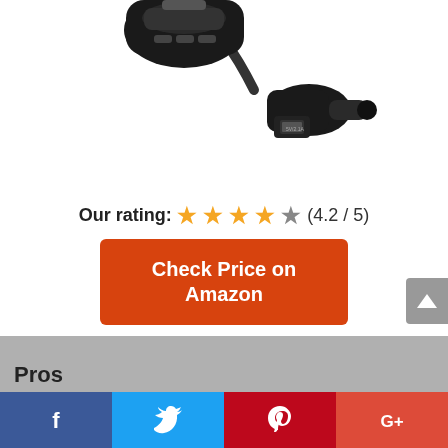[Figure (photo): Product photo of a black car FM transmitter/charger device with flexible gooseneck and USB port]
Our rating: ★★★★☆ (4.2 / 5)
Check Price on Amazon
Pros
[Figure (other): Social sharing bar with Facebook, Twitter, Pinterest, and Google+ buttons]